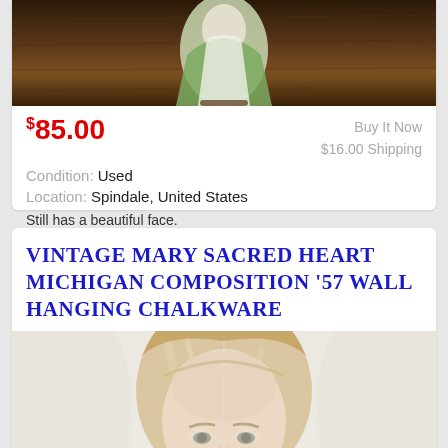[Figure (photo): Bottom portion of a ceramic/porcelain religious figurine (Mary) in green and white robes on a wooden background]
$85.00
Buy It Now
$16.00 Shipping
Condition: Used
Location: Spindale, United States
Still has a beautiful face.
VINTAGE MARY SACRED HEART MICHIGAN COMPOSITION '57 WALL HANGING CHALKWARE
[Figure (photo): Close-up photo of a Madonna/Virgin Mary chalkware wall hanging face with blonde-brown hair and veil]